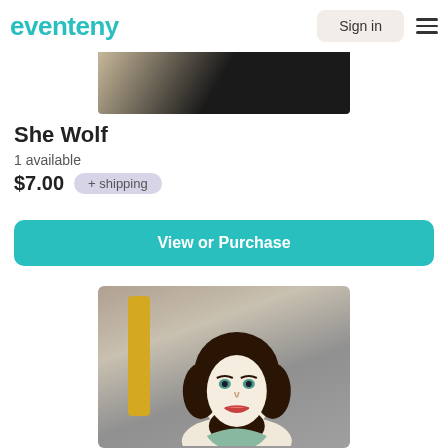eventeny  Sign in
[Figure (photo): Partial top of a figure/artwork image with dark background visible at the bottom of the header area]
She Wolf
1 available
$7.00  + shipping
View or Purchase
[Figure (illustration): Illustration of a woman with dark curly hair in a vintage/art style with yellow and grey background]